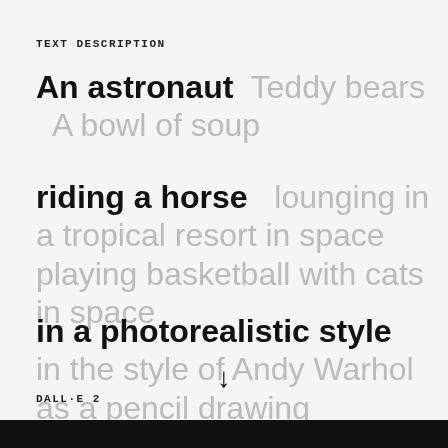TEXT DESCRIPTION
An astronaut   Teddy bears   A bowl of soup
riding a horse   lounging in a tropical resort in space   playing basketball with cats in space
in a photorealistic style   in the style of Andy Warhol   as a pencil drawing
↓
DALL·E 2
[Figure (photo): Dark image at the bottom of the page, partially visible]